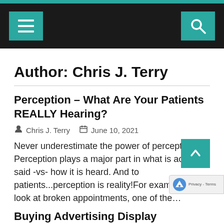Navigation bar with menu and search icons
Author: Chris J. Terry
Perception – What Are Your Patients REALLY Hearing?
Chris J. Terry  June 10, 2021
Never underestimate the power of perception! Perception plays a major part in what is actually said -vs- how it is heard. And to patients...perception is reality!For example, lets look at broken appointments, one of the…
Buying Advertising Display Merchandise on a Shoestring: Bargain Hunting Isn't Only for